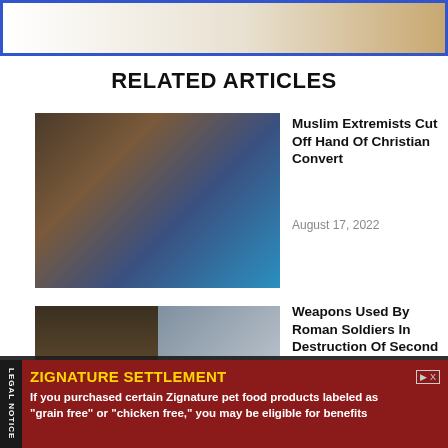[Figure (photo): Partial screenshot of a webpage top image — white area on left, brownish/tan background on right]
RELATED ARTICLES
[Figure (photo): Photo of a person being attended to in what appears to be a medical or informal setting]
Muslim Extremists Cut Off Hand Of Christian Convert
August 17, 2022
[Figure (photo): Composite image showing archaeological weapons/artifacts and a person excavating at a dig site]
Weapons Used By Roman Soldiers In Destruction Of Second Temple Discovered...
August 17, 2022
We use cookies to ensure that we give you the best experience on website. If you continue to use this site we will assume that you
ZIGNATURE SETTLEMENT
If you purchased certain Zignature pet food products labeled as "grain free" or "chicken free," you may be eligible for benefits